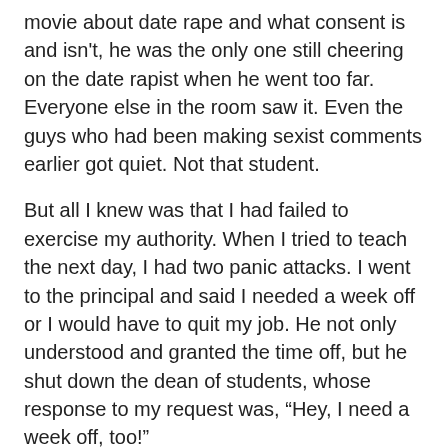movie about date rape and what consent is and isn't, he was the only one still cheering on the date rapist when he went too far. Everyone else in the room saw it. Even the guys who had been making sexist comments earlier got quiet. Not that student.
But all I knew was that I had failed to exercise my authority. When I tried to teach the next day, I had two panic attacks. I went to the principal and said I needed a week off or I would have to quit my job. He not only understood and granted the time off, but he shut down the dean of students, whose response to my request was, “Hey, I need a week off, too!”
One of the reasons I kept teaching there was that two women colleagues not only recommended I take a self-defense course; they took it with me. In 10 weeks I learned more than how to break a board or use my elbows to stop an attacker. I learned to use my voice. I